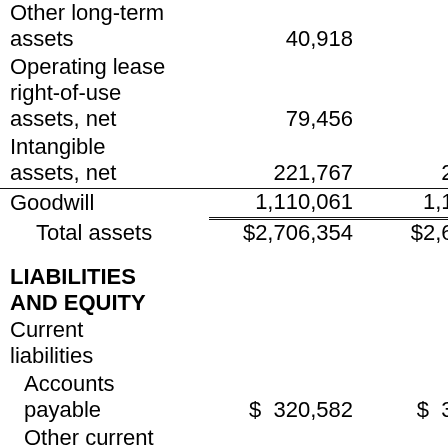|  | Col1 | Col2 |
| --- | --- | --- |
| Other long-term assets | 40,918 | 45... |
| Operating lease right-of-use assets, net | 79,456 |  |
| Intangible assets, net | 221,767 | 257... |
| Goodwill | 1,110,061 | 1,116... |
| Total assets | $2,706,354 | $2,608... |
| LIABILITIES AND EQUITY |  |  |
| Current liabilities |  |  |
| Accounts payable | $ 320,582 | $ 309... |
| Other current liabilities | 69,139 | 70... |